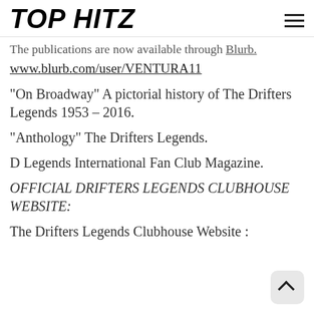TOP HITZ
The publications are now available through Blurb.
www.blurb.com/user/VENTURA11
“On Broadway” A pictorial history of The Drifters Legends 1953 – 2016.
“Anthology” The Drifters Legends.
D Legends International Fan Club Magazine.
OFFICIAL DRIFTERS LEGENDS CLUBHOUSE WEBSITE:
The Drifters Legends Clubhouse Website :